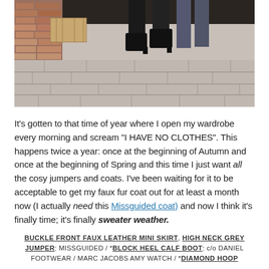[Figure (photo): Cropped street photo showing legs/boots of a person walking on stone paving slabs, with a red brick wall visible in the background. The person is wearing black boots and dark trousers/jeans.]
It's gotten to that time of year where I open my wardrobe every morning and scream "I HAVE NO CLOTHES". This happens twice a year: once at the beginning of Autumn and once at the beginning of Spring and this time I just want all the cosy jumpers and coats. I've been waiting for it to be acceptable to get my faux fur coat out for at least a month now (I actually need this Missguided coat) and now I think it's finally time; it's finally sweater weather.
BUCKLE FRONT FAUX LEATHER MINI SKIRT, HIGH NECK GREY JUMPER: MISSGUIDED / *BLOCK HEEL CALF BOOT: c/o DANIEL FOOTWEAR / MARC JACOBS AMY WATCH / *DIAMOND HOOP